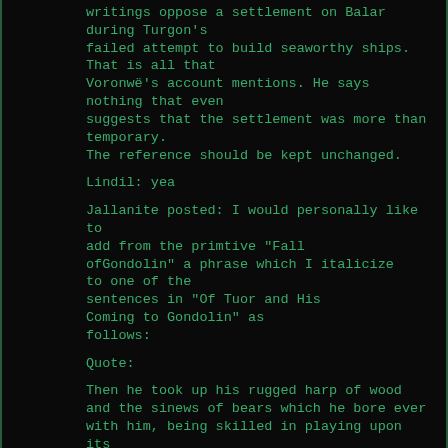writings oppose a settlement on Balar during Turgon's failed attempt to build seaworthy ships. That is all that Voronwë's account mentions. He says nothing that even suggests that the settlement was more than temporary. The reference should be kept unchanged.
Lindil: yea
Jallanite posted: I would personally like to add from the primtive &quot;Fall ofGondolin&quot; a phrase which I italicize to one of the sentences in &quot;Of Tuor and His Coming to Gondolin&quot; as follows:
Quote:
Then he took up his rugged harp of wood and the sinews of bears which he bore ever with him, being skilled in playing upon its strings, ...
L:I liked that also, I might lean towards eliminating 'rugged' as it was most likely made by and or under the tutelage of the